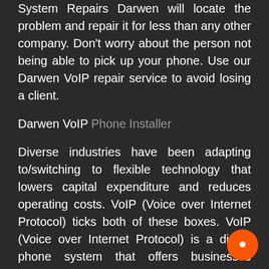System Repairs Darwen will locate the problem and repair it for less than any other company. Don't worry about the person not being able to pick up your phone. Use our Darwen VoIP repair service to avoid losing a client.
Darwen VoIP Phone Installer
Diverse industries have been adapting to/switching to flexible technology that lowers capital expenditure and reduces operating costs. VoIP (Voice over Internet Protocol) ticks both of these boxes. VoIP (Voice over Internet Protocol) is a digital phone system that offers businesses measurable cost savings and scales according to changing needs.
Telephone Systems Service can assist you in